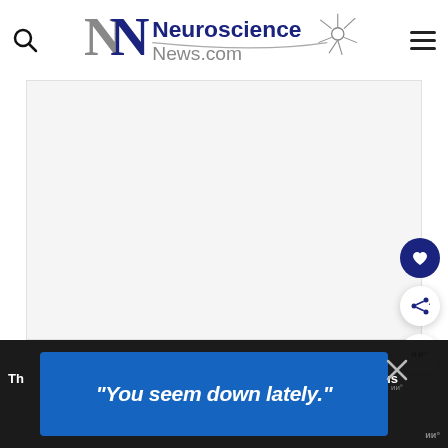Neuroscience News.com
[Figure (photo): Large white/light gray rectangular area representing a main article image placeholder on NeuroscienceNews.com]
[Figure (other): Blue advertisement banner reading: "You seem down lately."]
Th...  ...ions